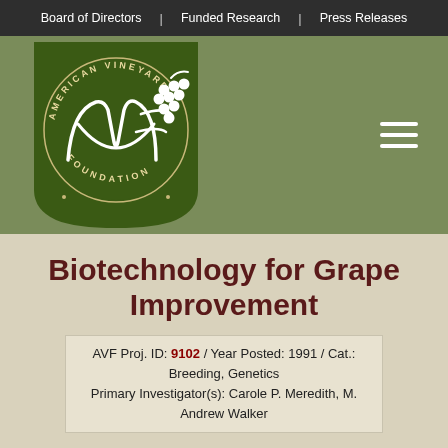Board of Directors | Funded Research | Press Releases
[Figure (logo): American Vineyard Foundation logo — dark green shield/badge shape containing a circular seal with the text 'AMERICAN VINEYARD FOUNDATION' around the edge, stylized 'AVF' monogram in white script, and a grape cluster graphic]
Biotechnology for Grape Improvement
AVF Proj. ID: 9102 / Year Posted: 1991 / Cat.: Breeding, Genetics
Primary Investigator(s): Carole P. Meredith, M. Andrew Walker